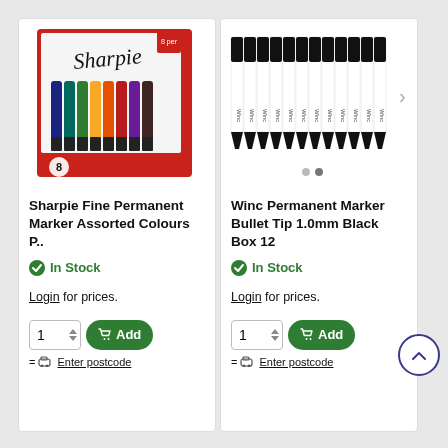[Figure (photo): Sharpie Fine Permanent Marker Assorted Colours pack of 8 markers in a red blister pack]
Sharpie Fine Permanent Marker Assorted Colours P..
In Stock
Login for prices.
[Figure (photo): Winc Permanent Marker Bullet Tip 1.0mm Black Box 12, showing 12 black markers lined up in a row]
Winc Permanent Marker Bullet Tip 1.0mm Black Box 12
In Stock
Login for prices.